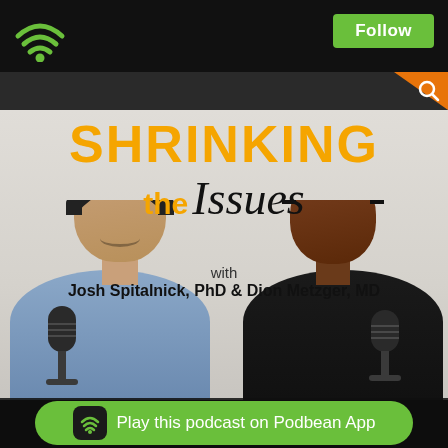[Figure (screenshot): Podbean podcast app interface screenshot showing the 'Shrinking the Issues' podcast with Josh Spitalnick PhD and Dion Metzger MD. Top bar with wifi icon and Follow button, search bar below, podcast cover art with hosts wearing headphones at microphones, and Play this podcast on Podbean App button at bottom.]
SHRINKING the Issues
with
Josh Spitalnick, PhD & Dion Metzger, MD
Play this podcast on Podbean App